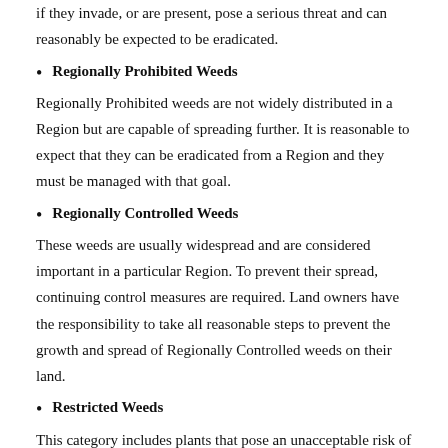if they invade, or are present, pose a serious threat and can reasonably be expected to be eradicated.
Regionally Prohibited Weeds
Regionally Prohibited weeds are not widely distributed in a Region but are capable of spreading further. It is reasonable to expect that they can be eradicated from a Region and they must be managed with that goal.
Regionally Controlled Weeds
These weeds are usually widespread and are considered important in a particular Region. To prevent their spread, continuing control measures are required. Land owners have the responsibility to take all reasonable steps to prevent the growth and spread of Regionally Controlled weeds on their land.
Restricted Weeds
This category includes plants that pose an unacceptable risk of spreading in this State or to other parts of Australia if they were to be sold or traded in Victoria, and are a serious threat to another State or Territory of